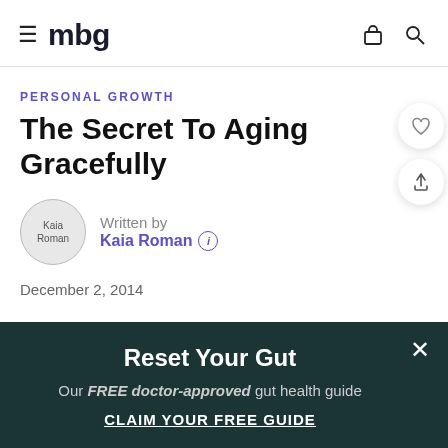mbg
PERSONAL GROWTH
The Secret To Aging Gracefully
Written by
Kaia Roman
December 2, 2014
Reset Your Gut
Our FREE doctor-approved gut health guide
CLAIM YOUR FREE GUIDE